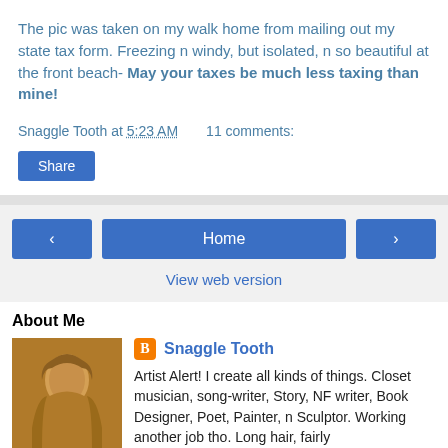The pic was taken on my walk home from mailing out my state tax form. Freezing n windy, but isolated, n so beautiful at the front beach- May your taxes be much less taxing than mine!
Snaggle Tooth at 5:23 AM     11 comments:
Share
‹    Home    ›
View web version
About Me
[Figure (photo): Profile photo of Snaggle Tooth - person with long hair]
Snaggle Tooth
Artist Alert! I create all kinds of things. Closet musician, song-writer, Story, NF writer, Book Designer, Poet, Painter, n Sculptor. Working another job tho. Long hair, fairly